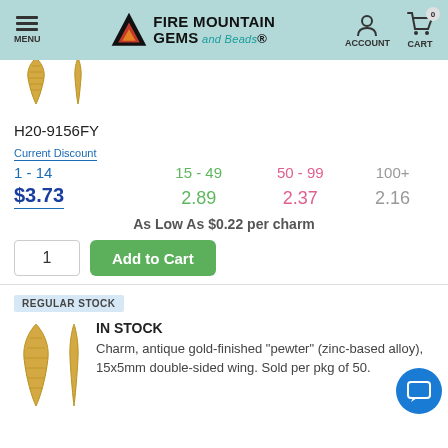MENU | FIRE MOUNTAIN GEMS and Beads | ACCOUNT | CART 0
[Figure (photo): Two antique gold-finished wing charms shown from front and back]
H20-9156FY
| Current Discount | 15 - 49 | 50 - 99 | 100+ |
| --- | --- | --- | --- |
| 1 - 14 | 15 - 49 | 50 - 99 | 100+ |
| $3.73 | 2.89 | 2.37 | 2.16 |
As Low As $0.22 per charm
REGULAR STOCK
IN STOCK
[Figure (photo): Two antique gold-finished wing charms, front and back views]
Charm, antique gold-finished "pewter" (zinc-based alloy), 15x5mm double-sided wing. Sold per pkg of 50.